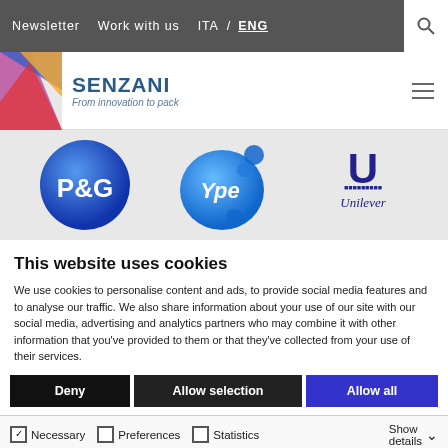Newsletter  Work with us  ITA / ENG
[Figure (logo): Senzani logo with colorful abstract icon and text 'SENZANI From innovation to pack']
[Figure (logo): P&G, Ype, and Unilever brand logos shown as partner logos]
This website uses cookies
We use cookies to personalise content and ads, to provide social media features and to analyse our traffic. We also share information about your use of our site with our social media, advertising and analytics partners who may combine it with other information that you've provided to them or that they've collected from your use of their services.
Deny | Allow selection | Allow all
Necessary  Preferences  Statistics  Marketing  Show details